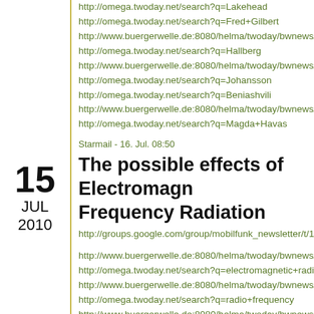http://omega.twoday.net/search?q=Lakehead
http://omega.twoday.net/search?q=Fred+Gilbert
http://www.buergerwelle.de:8080/helma/twoday/bwnews/s
http://omega.twoday.net/search?q=Hallberg
http://www.buergerwelle.de:8080/helma/twoday/bwnews/s
http://omega.twoday.net/search?q=Johansson
http://omega.twoday.net/search?q=Beniashvili
http://www.buergerwelle.de:8080/helma/twoday/bwnews/s
http://omega.twoday.net/search?q=Magda+Havas
Starmail - 16. Jul, 08:50
The possible effects of Electromagnetic Frequency Radiation
http://groups.google.com/group/mobilfunk_newsletter/t/16e
http://www.buergerwelle.de:8080/helma/twoday/bwnews/s
http://omega.twoday.net/search?q=electromagnetic+radiat
http://www.buergerwelle.de:8080/helma/twoday/bwnews/s
http://omega.twoday.net/search?q=radio+frequency
http://www.buergerwelle.de:8080/helma/twoday/bwnews/s
http://omega.twoday.net/search?q=health+effect
Starmail - 15. Jul, 07:47